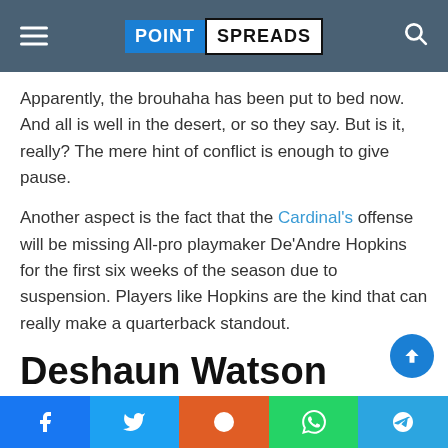POINT SPREADS
Apparently, the brouhaha has been put to bed now. And all is well in the desert, or so they say. But is it, really? The mere hint of conflict is enough to give pause.
Another aspect is the fact that the Cardinal's offense will be missing All-pro playmaker De'Andre Hopkins for the first six weeks of the season due to suspension. Players like Hopkins are the kind that can really make a quarterback standout.
Deshaun Watson +2200
The Deshaun Watson saga is far from over and his status with the league is up in the air. So, it's a bit premature to be betting on the embattled quarterback to win the most
Facebook | Twitter | Reddit | WhatsApp | Telegram